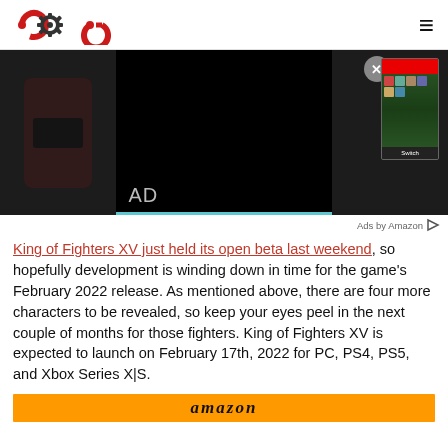COG (logo) | hamburger menu icon
[Figure (screenshot): Ad banner area with dark background, 'AD' label, close X button, and game box art on the right]
Ads by Amazon
King of Fighters XV just held its open beta last weekend, so hopefully development is winding down in time for the game's February 2022 release. As mentioned above, there are four more characters to be revealed, so keep your eyes peel in the next couple of months for those fighters. King of Fighters XV is expected to launch on February 17th, 2022 for PC, PS4, PS5, and Xbox Series X|S.
[Figure (logo): Amazon logo on orange background]